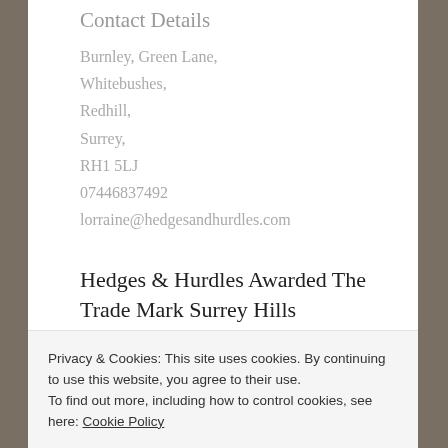Contact Details
Burnley, Green Lane,
Whitebushes,
Redhill,
Surrey,
RH1 5LJ
07446837492
lorraine@hedgesandhurdles.com
Hedges & Hurdles Awarded The Trade Mark Surrey Hills
Privacy & Cookies: This site uses cookies. By continuing to use this website, you agree to their use.
To find out more, including how to control cookies, see here: Cookie Policy